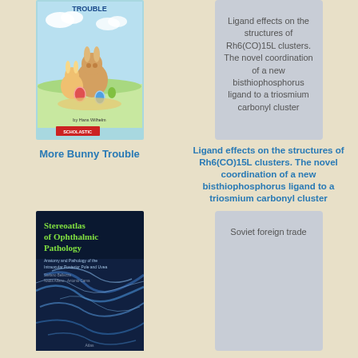[Figure (illustration): Book cover of 'More Bunny Trouble' by Hans Wilhelm showing cartoon rabbits with Easter eggs, Scholastic publisher]
[Figure (illustration): Gray placeholder box showing text about 'Ligand effects on the structures of Rh6(CO)15L clusters. The novel coordination of a new bisthiophosphorus ligand to a triosmium carbonyl cluster']
More Bunny Trouble
Ligand effects on the structures of Rh6(CO)15L clusters. The novel coordination of a new bisthiophosphorus ligand to a triosmium carbonyl cluster
[Figure (illustration): Book cover of 'Stereoatlas of Ophthalmic Pathology' with dark blue background showing anatomical tissue imagery]
[Figure (illustration): Gray placeholder box showing text 'Soviet foreign trade']